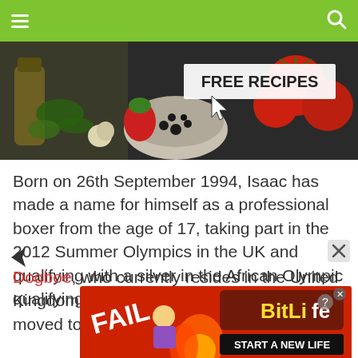[Figure (photo): Food banner image with tomatoes, strawberries, black pepper, garlic, olive oil, herbs, and a 'FREE RECIPES' label with cursor arrow icon]
Born on 26th September 1994, Isaac has made a name for himself as a professional boxer from the age of 17, taking part in the 2012 Summer Olympics in the UK and qualifying with a silver in the African Olympic qualifying events.
Dogboe, who currently resides in the United Kingdom was born in Accra, Ghana, but moved to London, England at the age of 8.
[Figure (screenshot): BitLife advertisement banner showing 'FAIL' text, animated characters with fire, and 'START A NEW LIFE' text]